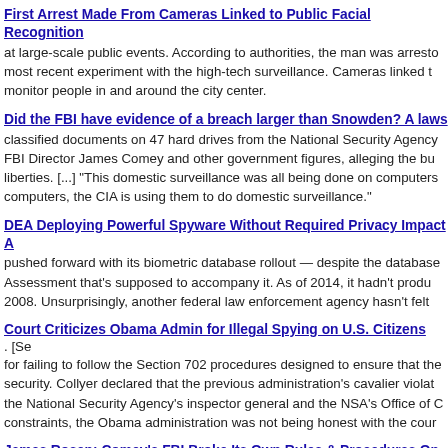First Arrest Made From Cameras Linked to Public Facial Recognition at large-scale public events. According to authorities, the man was arrested most recent experiment with the high-tech surveillance. Cameras linked to monitor people in and around the city center.
Did the FBI have evidence of a breach larger than Snowden? A laws classified documents on 47 hard drives from the National Security Agency FBI Director James Comey and other government figures, alleging the bu liberties. [...] "This domestic surveillance was all being done on computers computers, the CIA is using them to do domestic surveillance."
DEA Deploying Powerful Spyware Without Required Privacy Impact A pushed forward with its biometric database rollout — despite the database Assessment that's supposed to accompany it. As of 2014, it hadn't produ 2008. Unsurprisingly, another federal law enforcement agency hasn't felt
Court Criticizes Obama Admin for Illegal Spying on U.S. Citizens. [Se for failing to follow the Section 702 procedures designed to ensure that the security. Collyer declared that the previous administration's cavalier viola the National Security Agency's inspector general and the NSA's Office of C constraints, the Obama administration was not being honest with the cour
James Rosen: Comey's FBI Broke Its Own Rules & Procedures On S the rebuke of the Obama administration by the FISA court, which ordinari
New Revelations Shed Light On Extent Of NSA Spying Under Obama protect their identity, but there are large loopholes in place that allow the N known as "upstream collection" of Internet communications, it is impossib supposed to sift through the data packets and discard all but the targeted contents of the communications, but, when coupled with the NSA's targeti